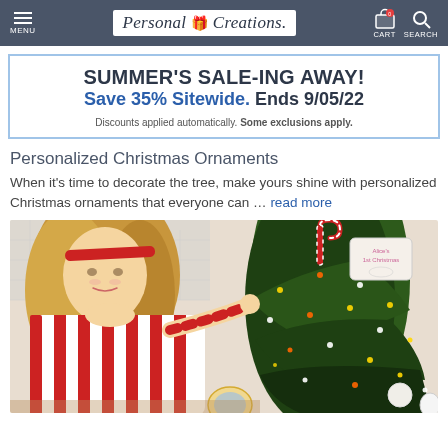Personal Creations — MENU | CART | SEARCH
SUMMER'S SALE-ING AWAY! Save 35% Sitewide. Ends 9/05/22. Discounts applied automatically. Some exclusions apply.
Personalized Christmas Ornaments
When it's time to decorate the tree, make yours shine with personalized Christmas ornaments that everyone can … read more
[Figure (photo): A young girl in red and white striped pajamas placing an ornament on a decorated Christmas tree with personalized ornaments visible.]